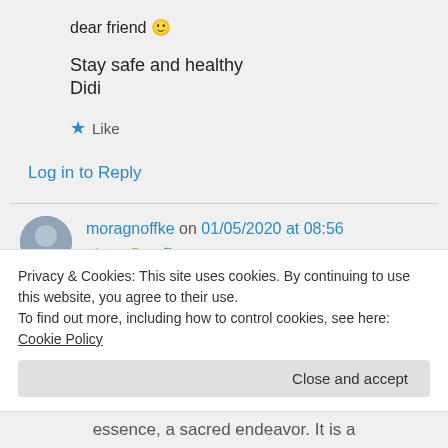dear friend 🙂
Stay safe and healthy
Didi
★ Like
Log in to Reply
moragnoffke on 01/05/2020 at 08:56
👍 0 👎 0 ℹ Rate This
Privacy & Cookies: This site uses cookies. By continuing to use this website, you agree to their use.
To find out more, including how to control cookies, see here: Cookie Policy
Close and accept
essence, a sacred endeavor. It is a